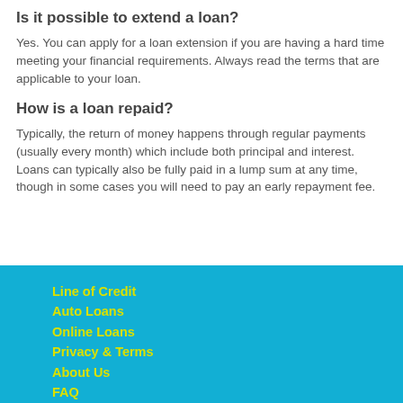Is it possible to extend a loan?
Yes. You can apply for a loan extension if you are having a hard time meeting your financial requirements. Always read the terms that are applicable to your loan.
How is a loan repaid?
Typically, the return of money happens through regular payments (usually every month) which include both principal and interest. Loans can typically also be fully paid in a lump sum at any time, though in some cases you will need to pay an early repayment fee.
Line of Credit
Auto Loans
Online Loans
Privacy & Terms
About Us
FAQ